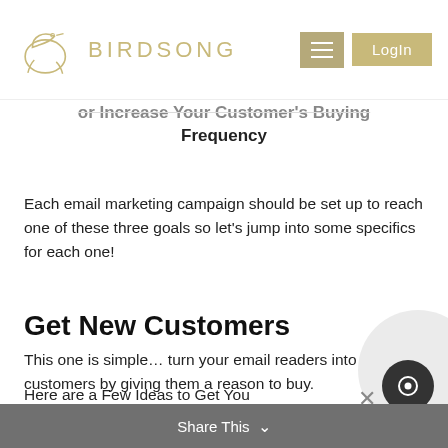BIRDSONG — navigation header with logo, menu, and Login button
or Increase Your Customer's Buying Frequency
Each email marketing campaign should be set up to reach one of these three goals so let's jump into some specifics for each one!
Get New Customers
This one is simple… turn your email readers into customers by giving them a reason to buy.
Here are a Few Ideas to Get You
Share This